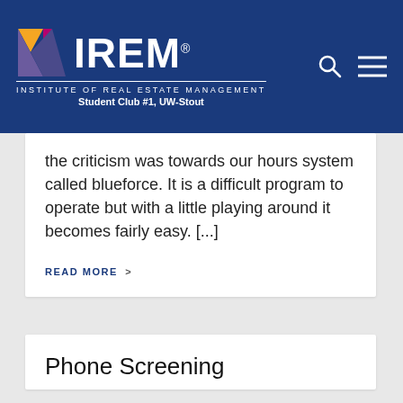[Figure (logo): IREM - Institute of Real Estate Management logo with colorful triangular icon, Student Club #1, UW-Stout]
the criticism was towards our hours system called blueforce. It is a difficult program to operate but with a little playing around it becomes fairly easy. [...]
READ MORE >
Phone Screening